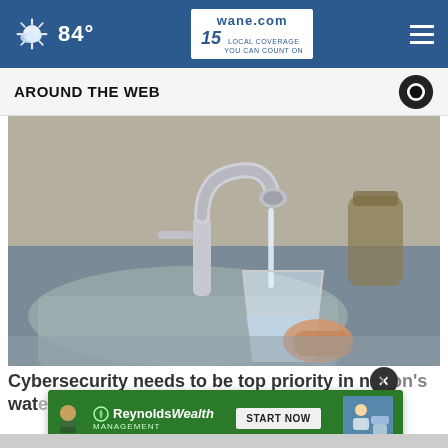84° | wane.com 15 LOCAL COVERAGE YOU CAN COUNT ON
AROUND THE WEB
[Figure (photo): A hand holding a clear glass being filled with water from a chrome kitchen faucet over a stainless steel sink, with kitchen items blurred in the background.]
Cybersecurity needs to be top priority in nation's water...
[Figure (infographic): Advertisement for Reynolds Wealth Management with green background showing logo, START NOW button, and text SAVE > INVEST > RETIRE]